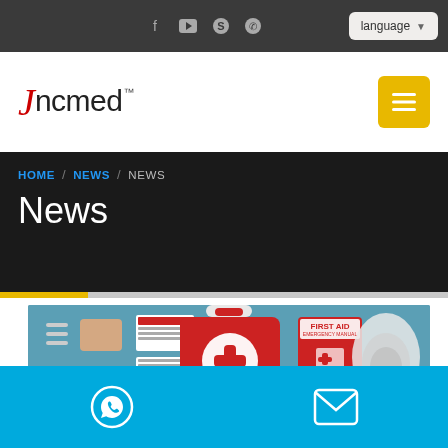Jncmed — social icons and language selector
[Figure (logo): Jncmed logo with red J and menu button]
HOME / NEWS / NEWS
News
[Figure (illustration): First aid kit illustration showing red case with white cross, bandages, first aid manual, oxygen mask, and medical supplies on teal background]
WhatsApp and email contact icons on blue bar